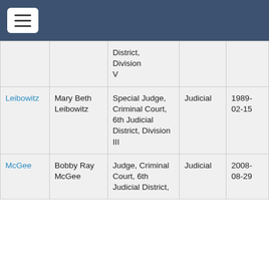Navigation header bar with hamburger menu
| Last Name | Full Name | Position | Selection Type | Date |
| --- | --- | --- | --- | --- |
|  |  | District, Division V |  |  |
| Leibowitz | Mary Beth Leibowitz | Special Judge, Criminal Court, 6th Judicial District, Division III | Judicial | 1989-02-15 |
| McGee | Bobby Ray McGee | Judge, Criminal Court, 6th Judicial District, | Judicial | 2008-08-29 |